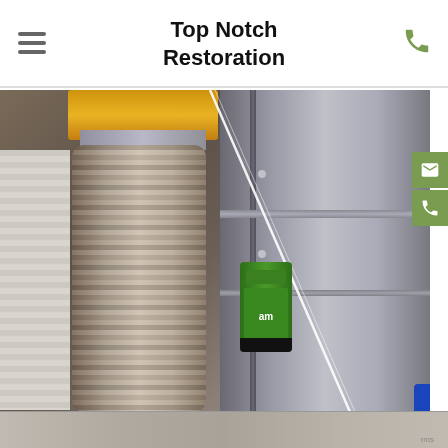Top Notch Restoration
[Figure (photo): Interior photo of HVAC duct cleaning equipment: a large corrugated flexible hose connected to yellow fitting at top, positioned next to sheet metal air handler ducts. A green product canister and a white cable are also visible. Side contact buttons (email and phone) in olive green appear on the right edge.]
[Figure (photo): Partial bottom strip showing another HVAC or duct interior image.]